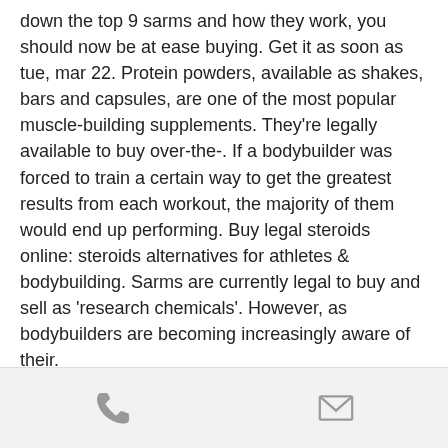down the top 9 sarms and how they work, you should now be at ease buying. Get it as soon as tue, mar 22. Protein powders, available as shakes, bars and capsules, are one of the most popular muscle-building supplements. They're legally available to buy over-the-. If a bodybuilder was forced to train a certain way to get the greatest results from each workout, the majority of them would end up performing. Buy legal steroids online: steroids alternatives for athletes &amp; bodybuilding. Sarms are currently legal to buy and sell as 'research chemicals'. However, as bodybuilders are becoming increasingly aware of their.
A buon mercato  i migliori steroidi in vendita cykel.
. Using steroids for a long time can harm the
[Figure (other): Bottom navigation bar with phone icon and mail/envelope icon]